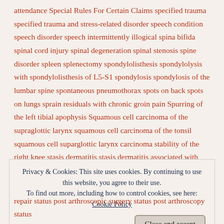attendance Special Rules For Certain Claims specified trauma specified trauma and stress-related disorder speech condition speech disorder speech intermittently illogical spina bifida spinal cord injury spinal degeneration spinal stenosis spine disorder spleen splenectomy spondylolisthesis spondylolysis with spondylolisthesis of L5-S1 spondylosis spondylosis of the lumbar spine spontaneous pneumothorax spots on back spots on lungs sprain residuals with chronic groin pain Spurring of the left tibial apophysis Squamous cell carcinoma of the supraglottic larynx squamous cell carcinoma of the tonsil squamous cell suparglottic larynx carcinoma stability of the right knee stasis dermatitis stasis dermatitis associated with fragment wounds involving Muscle Group XV status-post excision
Privacy & Cookies: This site uses cookies. By continuing to use this website, you agree to their use. To find out more, including how to control cookies, see here: Cookie Policy
repair status post arthroscopic surgery status post arthroscopy status